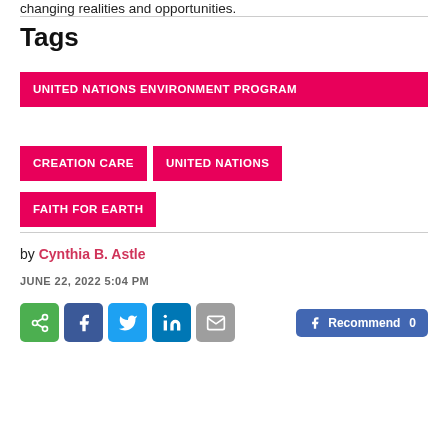changing realities and opportunities.
Tags
UNITED NATIONS ENVIRONMENT PROGRAM
CREATION CARE
UNITED NATIONS
FAITH FOR EARTH
by Cynthia B. Astle
JUNE 22, 2022 5:04 PM
[Figure (infographic): Social share buttons: share (green), Facebook (blue), Twitter (cyan), LinkedIn (dark blue), Email (grey), and a Facebook Recommend button showing 0 recommends.]